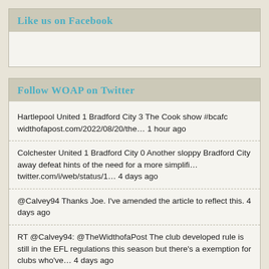Like us on Facebook
Follow WOAP on Twitter
Hartlepool United 1 Bradford City 3 The Cook show #bcafc widthofapost.com/2022/08/20/the… 1 hour ago
Colchester United 1 Bradford City 0 Another sloppy Bradford City away defeat hints of the need for a more simplifi… twitter.com/i/web/status/1… 4 days ago
@Calvey94 Thanks Joe. I've amended the article to reflect this. 4 days ago
RT @Calvey94: @TheWidthofaPost The club developed rule is still in the EFL regulations this season but there's a exemption for clubs who've… 4 days ago
Reece Staunton departs Bradford City with opportunities for club developed players harder to come by #bcafc